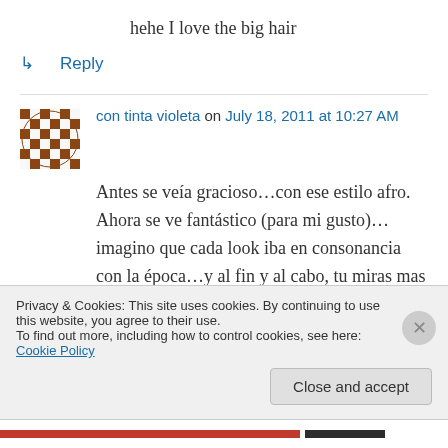hehe I love the big hair
↳ Reply
con tinta violeta on July 18, 2011 at 10:27 AM
Antes se veía gracioso…con ese estilo afro. Ahora se ve fantástico (para mi gusto)…imagino que cada look iba en consonancia con la época…y al fin y al cabo, tu miras mas allá de la apariencia…y su corazón seguirá siendo el
Privacy & Cookies: This site uses cookies. By continuing to use this website, you agree to their use. To find out more, including how to control cookies, see here: Cookie Policy
Close and accept